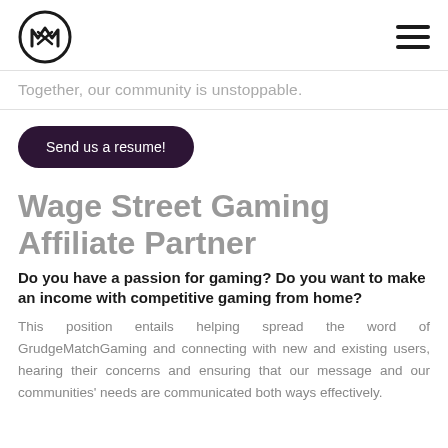[Logo: GrudgeMatchGaming circular icon] [Hamburger menu icon]
Together, our community is unstoppable.
Send us a resume!
Wage Street Gaming Affiliate Partner
Do you have a passion for gaming? Do you want to make an income with competitive gaming from home?
This position entails helping spread the word of GrudgeMatchGaming and connecting with new and existing users, hearing their concerns and ensuring that our message and our communities' needs are communicated both ways effectively.